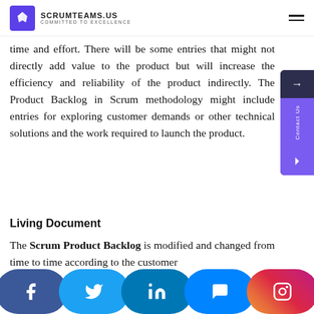SCRUMTEAMS.US COMMITTED TO EXCELLENCE
time and effort. There will be some entries that might not directly add value to the product but will increase the efficiency and reliability of the product indirectly. The Product Backlog in Scrum methodology might include entries for exploring customer demands or other technical solutions and the work required to launch the product.
Living Document
The Scrum Product Backlog is modified and changed from time to time according to the customer...